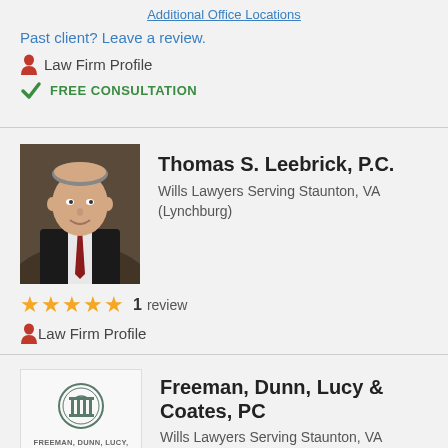Additional Office Locations
Past client? Leave a review.
Law Firm Profile
FREE CONSULTATION
Thomas S. Leebrick, P.C.
Wills Lawyers Serving Staunton, VA (Lynchburg)
1 review
Law Firm Profile
Freeman, Dunn, Lucy & Coates, PC
Wills Lawyers Serving Staunton, VA